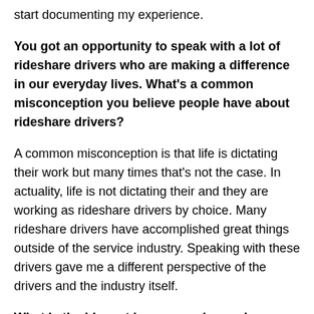start documenting my experience.
You got an opportunity to speak with a lot of rideshare drivers who are making a difference in our everyday lives. What's a common misconception you believe people have about rideshare drivers?
A common misconception is that life is dictating their work but many times that's not the case. In actuality, life is not dictating their and they are working as rideshare drivers by choice. Many rideshare drivers have accomplished great things outside of the service industry. Speaking with these drivers gave me a different perspective of the drivers and the industry itself.
What is the biggest lesson you learned as a rideshare driver?